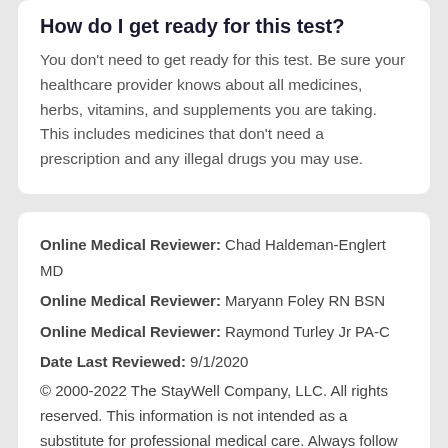How do I get ready for this test?
You don't need to get ready for this test. Be sure your healthcare provider knows about all medicines, herbs, vitamins, and supplements you are taking. This includes medicines that don't need a prescription and any illegal drugs you may use.
Online Medical Reviewer: Chad Haldeman-Englert MD
Online Medical Reviewer: Maryann Foley RN BSN
Online Medical Reviewer: Raymond Turley Jr PA-C
Date Last Reviewed: 9/1/2020
© 2000-2022 The StayWell Company, LLC. All rights reserved. This information is not intended as a substitute for professional medical care. Always follow your healthcare professional's instructions.